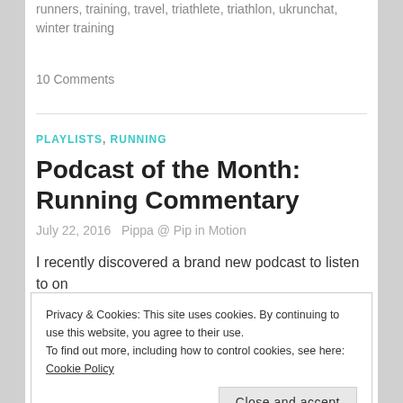runners, training, travel, triathlete, triathlon, ukrunchat, winter training
10 Comments
PLAYLISTS, RUNNING
Podcast of the Month: Running Commentary
July 22, 2016   Pippa @ Pip in Motion
I recently discovered a brand new podcast to listen to on
Privacy & Cookies: This site uses cookies. By continuing to use this website, you agree to their use.
To find out more, including how to control cookies, see here: Cookie Policy
Close and accept
Continue reading